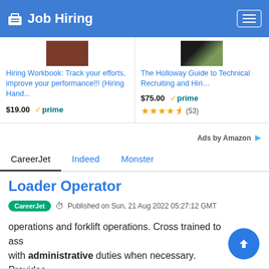Job Hiring
[Figure (screenshot): Amazon product card: Hiring Workbook book cover (brown image), priced at $19.00 with Prime badge]
Hiring Workbook: Track your efforts, improve your performance!!! (Hiring Hand...
$19.00 prime
[Figure (screenshot): Amazon product card: The Holloway Guide to Technical Recruiting book cover (green/black image), priced at $75.00 with Prime badge and 4.5 star rating (53 reviews)]
The Holloway Guide to Technical Recruiting and Hiri...
$75.00 prime
★★★★½ (53)
Ads by Amazon
CareerJet | Indeed | Monster
Loader Operator
CareerJet  Published on Sun, 21 Aug 2022 05:27:12 GMT
operations and forklift operations. Cross trained to ass with administrative duties when necessary. Provides excellent...